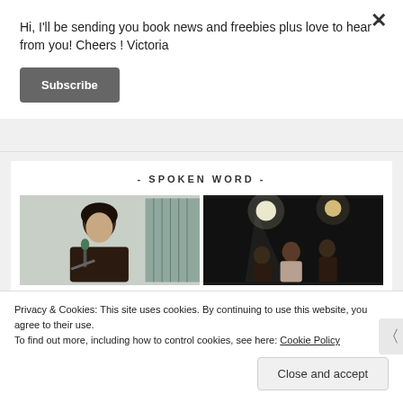Hi, I'll be sending you book news and freebies plus love to hear from you! Cheers ! Victoria
Subscribe
- SPOKEN WORD -
[Figure (photo): Woman speaking at a microphone, light grey and teal background]
[Figure (photo): Dark stage scene with people under stage lights]
Privacy & Cookies: This site uses cookies. By continuing to use this website, you agree to their use.
To find out more, including how to control cookies, see here: Cookie Policy
Close and accept